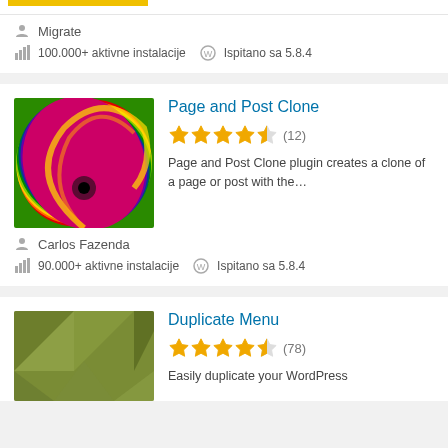[Figure (screenshot): Top partial card with yellow/gold banner at top edge]
Migrate
100.000+ aktivne instalacije  Ispitano sa 5.8.4
[Figure (photo): Colorful rainbow swirl thumbnail for Page and Post Clone plugin]
Page and Post Clone
★★★★½ (12)
Page and Post Clone plugin creates a clone of a page or post with the…
Carlos Fazenda
90.000+ aktivne instalacije  Ispitano sa 5.8.4
[Figure (screenshot): Olive/green geometric triangles thumbnail for Duplicate Menu plugin]
Duplicate Menu
★★★★½ (78)
Easily duplicate your WordPress